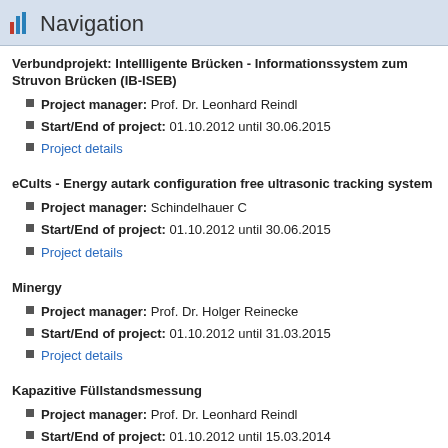Navigation
Verbundprojekt: Intellligente Brücken - Informationssystem zum Stru von Brücken (IB-ISEB)
Project manager: Prof. Dr. Leonhard Reindl
Start/End of project: 01.10.2012 until 30.06.2015
Project details
eCults - Energy autark configuration free ultrasonic tracking system
Project manager: Schindelhauer C
Start/End of project: 01.10.2012 until 30.06.2015
Project details
Minergy
Project manager: Prof. Dr. Holger Reinecke
Start/End of project: 01.10.2012 until 31.03.2015
Project details
Kapazitive Füllstandsmessung
Project manager: Prof. Dr. Leonhard Reindl
Start/End of project: 01.10.2012 until 15.03.2014